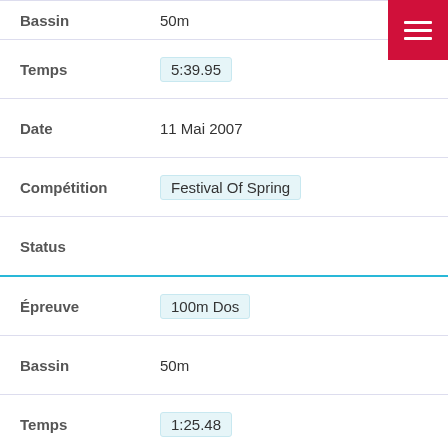| Label | Value |
| --- | --- |
| Bassin | 50m |
| Temps | 5:39.95 |
| Date | 11 Mai 2007 |
| Compétition | Festival Of Spring |
| Status |  |
| Épreuve | 100m Dos |
| Bassin | 50m |
| Temps | 1:25.48 |
| Date | 11 Mai 2007 |